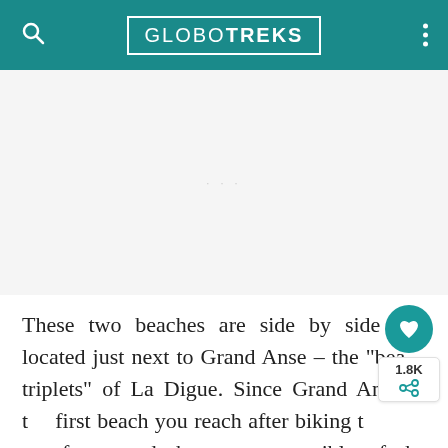GLOBOTREKS
[Figure (other): Advertisement placeholder area, light gray background]
These two beaches are side by side and located just next to Grand Anse – the "beach triplets" of La Digue. Since Grand Anse is the first beach you reach after biking through the forest and the most accessible of the three, it is the most "crowded" (again, not that